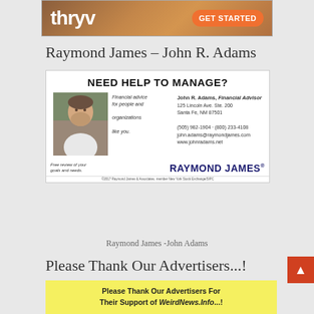[Figure (screenshot): Thryv advertisement banner with orange background, 'thryv' logo in white, and orange 'GET STARTED' button]
Raymond James – John R. Adams
[Figure (infographic): Raymond James advertisement featuring John R. Adams, Financial Advisor. Shows photo of man, text: 'NEED HELP TO MANAGE? Financial advice for people and organizations like you. John R. Adams, Financial Advisor, 125 Lincoln Ave. Ste. 200, Santa Fe, NM 87501, (505) 982-1904 - (800) 233-4108, john.adams@raymondjames.com, www.johnradams.net. Free review of your goals and needs. RAYMOND JAMES®']
Raymond James -John Adams
Please Thank Our Advertisers...!
[Figure (infographic): Yellow banner reading: Please Thank Our Advertisers For Their Support of WeirdNews.Info...!]